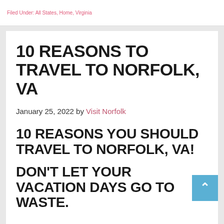Filed Under: All States, Home, Virginia
10 REASONS TO TRAVEL TO NORFOLK, VA
January 25, 2022 by Visit Norfolk
10 REASONS YOU SHOULD TRAVEL TO NORFOLK, VA!
DON'T LET YOUR VACATION DAYS GO TO WASTE.